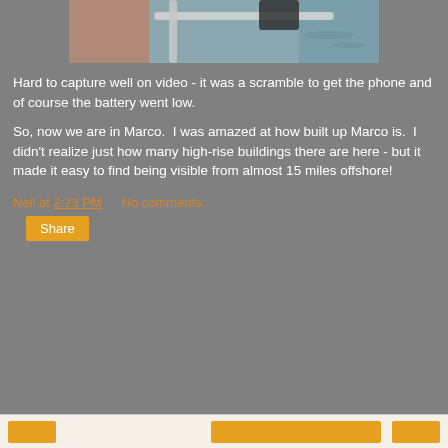[Figure (photo): Partial view of a boat railing with ocean/water in the background]
Hard to capture well on video - it was a scramble to get the phone and of course the battery went low.
So, now we are in Marco.  I was amazed at how built up Marco is.  I didn't realize just how many high-rise buildings there are here - but it made it easy to find being visible from almost 15 miles offshore!
Neil at 2:23 PM    No comments:
Share